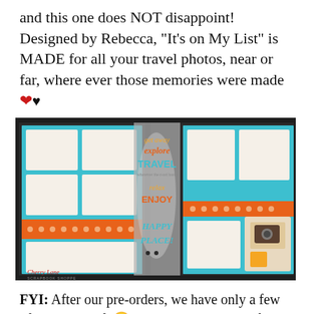and this one does NOT disappoint! Designed by Rebecca, “It’s on My List” is MADE for all your travel photos, near or far, where ever those memories were made ❤️♥
[Figure (photo): A scrapbooking layout kit called 'It's on My List' by Cherry Lane Scrapbook Shoppe, showing a travel-themed two-page spread with teal borders, orange polka dot ribbon, photo placeholders, and text reading get away, explore, TRAVEL, relax, ENJOY, HAPPY PLACE. The Cherry Lane Scrapbook Shoppe logo is visible in the lower left.]
FYI: After our pre-orders, we have only a few of these kits left 😐 Give us a call ASAP if you want